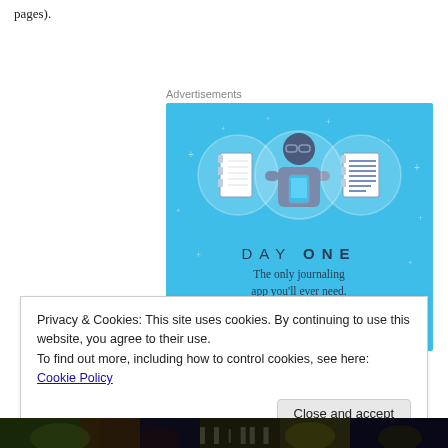pages).
Advertisements
[Figure (illustration): Day One journaling app advertisement on a bright blue background. Shows three circular icons (blank notebook, person holding phone, lined notebook) and text 'DAY ONE - The only journaling app you'll ever need.' with a button below.]
Privacy & Cookies: This site uses cookies. By continuing to use this website, you agree to their use.
To find out more, including how to control cookies, see here: Cookie Policy
[Figure (photo): Dark decorative image strip at the bottom of the page]